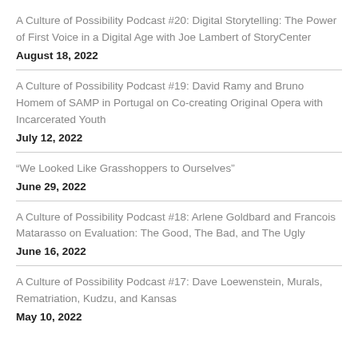A Culture of Possibility Podcast #20: Digital Storytelling: The Power of First Voice in a Digital Age with Joe Lambert of StoryCenter
August 18, 2022
A Culture of Possibility Podcast #19: David Ramy and Bruno Homem of SAMP in Portugal on Co-creating Original Opera with Incarcerated Youth
July 12, 2022
“We Looked Like Grasshoppers to Ourselves”
June 29, 2022
A Culture of Possibility Podcast #18: Arlene Goldbard and Francois Matarasso on Evaluation: The Good, The Bad, and The Ugly
June 16, 2022
A Culture of Possibility Podcast #17: Dave Loewenstein, Murals, Rematriation, Kudzu, and Kansas
May 10, 2022